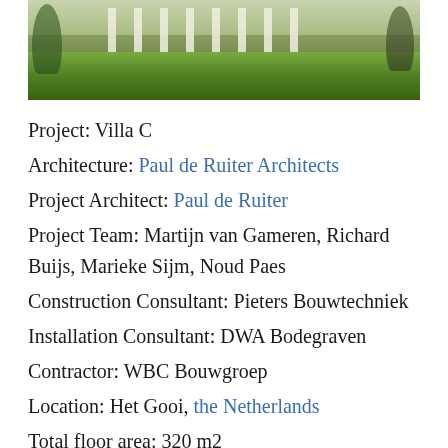[Figure (photo): Exterior photo of Villa C showing a modern low-rise building with columns, set on a green lawn with trees on either side.]
Project: Villa C
Architecture: Paul de Ruiter Architects
Project Architect: Paul de Ruiter
Project Team: Martijn van Gameren, Richard Buijs, Marieke Sijm, Noud Paes
Construction Consultant: Pieters Bouwtechniek
Installation Consultant: DWA Bodegraven
Contractor: WBC Bouwgroep
Location: Het Gooi, the Netherlands
Total floor area: 320 m2